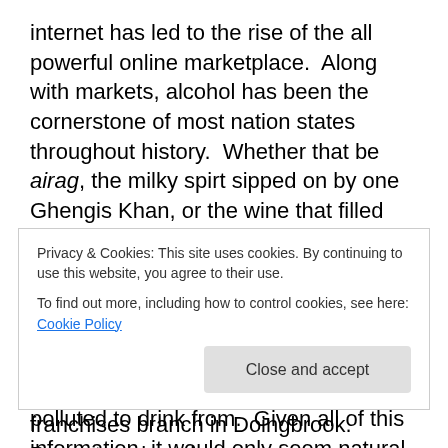internet has led to the rise of the all powerful online marketplace.  Along with markets, alcohol has been the cornerstone of most nation states throughout history.  Whether that be airag, the milky spirt sipped on by one Ghengis Khan, or the wine that filled the goblets of the Caesars throughout the history of the Roman Empire, alcohol has been a double edged sword that has existed for man's pleasure or survival in the case of areas where watersheds were too polluted to drink from.  Given all of this information, it would only seem natural to place both of these concepts together into a market that sells beer or
Privacy & Cookies: This site uses cookies. By continuing to use this website, you agree to their use.
To find out more, including how to control cookies, see here: Cookie Policy
franchises branch in Doingbrook. Promotes shopping